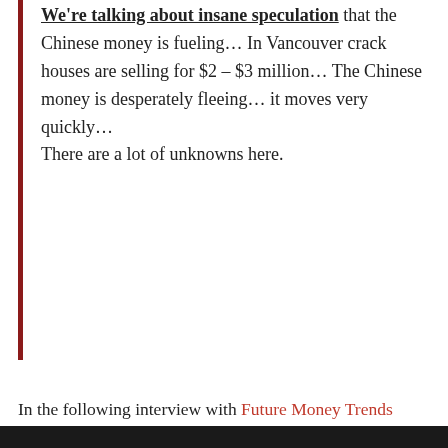We're talking about insane speculation that the Chinese money is fueling… In Vancouver crack houses are selling for $2 – $3 million… The Chinese money is desperately fleeing… it moves very quickly… There are a lot of unknowns here.
In the following interview with Future Money Trends Marin Katusa, who happens to be one of the most successful investors in the world, explains the various dynamics of the global marketplace and how the average investor must position their assets now to avoid the destructive fall out to come – and it will come, because as Marin explains it, some 90% of companies out there are valued much higher than they should be:
[Figure (other): Dark/black bar at the bottom of the page, appears to be a video thumbnail or image strip]